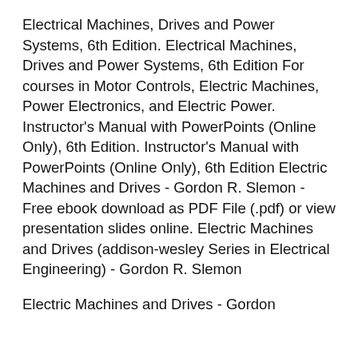Electrical Machines, Drives and Power Systems, 6th Edition. Electrical Machines, Drives and Power Systems, 6th Edition For courses in Motor Controls, Electric Machines, Power Electronics, and Electric Power. Instructor's Manual with PowerPoints (Online Only), 6th Edition. Instructor's Manual with PowerPoints (Online Only), 6th Edition Electric Machines and Drives - Gordon R. Slemon - Free ebook download as PDF File (.pdf) or view presentation slides online. Electric Machines and Drives (addison-wesley Series in Electrical Engineering) - Gordon R. Slemon
Electric Machines and Drives - Gordon